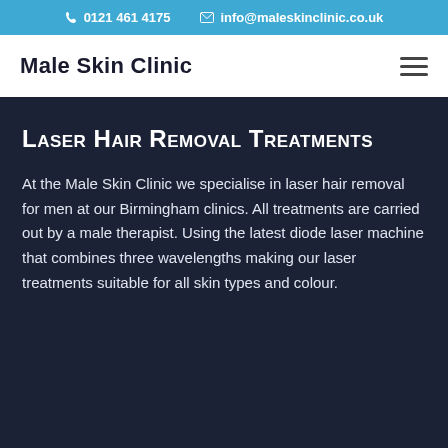0121 461 4175  info@maleskinclinic.co.uk
Male Skin Clinic
Laser Hair Removal Treatments
At the Male Skin Clinic we specialise in laser hair removal for men at our Birmingham clinics. All treatments are carried out by a male therapist. Using the latest diode laser machine that combines three wavelengths making our laser treatments suitable for all skin types and colour.